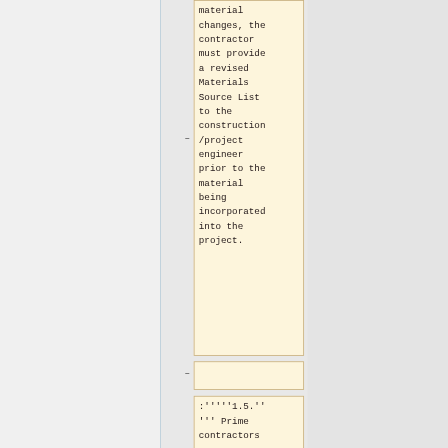material changes, the contractor must provide a revised Materials Source List to the construction/project engineer prior to the material being incorporated into the project.
:''''1.5.'' ''' Prime contractors